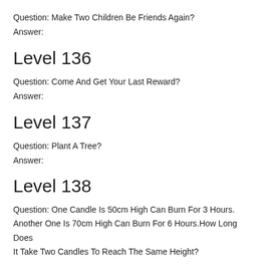Question: Make Two Children Be Friends Again?
Answer:
Level 136
Question: Come And Get Your Last Reward?
Answer:
Level 137
Question: Plant A Tree?
Answer:
Level 138
Question: One Candle Is 50cm High Can Burn For 3 Hours. Another One Is 70cm High Can Burn For 6 Hours.How Long Does It Take Two Candles To Reach The Same Height?